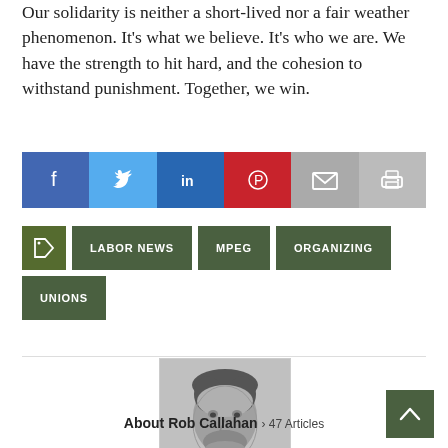Our solidarity is neither a short-lived nor a fair weather phenomenon. It's what we believe. It's who we are. We have the strength to hit hard, and the cohesion to withstand punishment. Together, we win.
[Figure (infographic): Social sharing buttons: Facebook (blue), Twitter (light blue), LinkedIn (blue), Pinterest (red), Email (grey), Print (grey)]
[Figure (infographic): Tag buttons: tag icon, LABOR NEWS, MPEG, ORGANIZING, UNIONS]
[Figure (photo): Black and white portrait photo of Rob Callahan, a man with medium-length dark hair and beard]
About Rob Callahan > 47 Articles